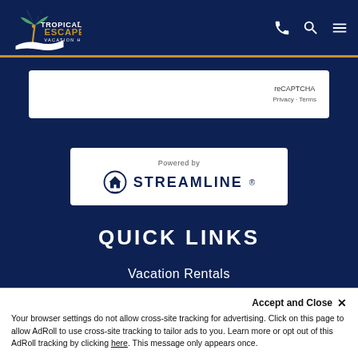[Figure (logo): Tropical Escape Vacation Homes logo with palm tree icon, white text on dark navy background, with gold/orange accent]
[Figure (screenshot): reCAPTCHA Privacy - Terms box in white rounded rectangle]
[Figure (logo): Powered by STREAMLINE logo in white rounded rectangle badge with circular house icon]
QUICK LINKS
Vacation Rentals
Property Management
Design2Live
Blog
Accept and Close ✕
Your browser settings do not allow cross-site tracking for advertising. Click on this page to allow AdRoll to use cross-site tracking to tailor ads to you. Learn more or opt out of this AdRoll tracking by clicking here. This message only appears once.